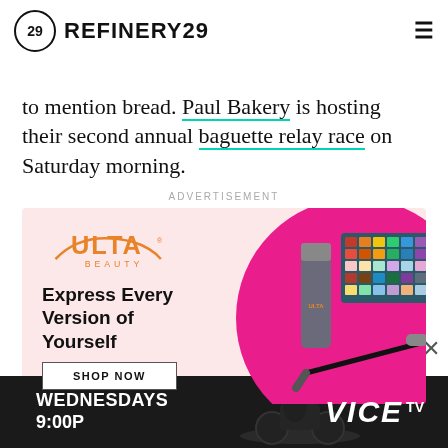REFINERY29
to mention bread. Paul Bakery is hosting their second annual baguette relay race on Saturday morning.
ADVERTISEMENT
[Figure (illustration): Ulta Beauty advertisement with pink circle containing makeup products (eyeshadow palette, foundation tube, mascara). Text: Express Every Version of Yourself. SHOP NOW button.]
[Figure (illustration): VICE TV banner ad: WEDNESDAYS 9:00P with dark background showing motorcycle rider silhouette and VICE TV logo.]